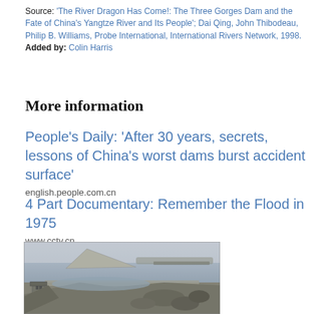Source: 'The River Dragon Has Come!: The Three Gorges Dam and the Fate of China's Yangtze River and Its People'; Dai Qing, John Thibodeau, Philip B. Williams, Probe International, International Rivers Network, 1998.   Added by: Colin Harris
More information
People's Daily: 'After 30 years, secrets, lessons of China's worst dams burst accident surface'
english.people.com.cn
4 Part Documentary: Remember the Flood in 1975
www.cctv.cn
[Figure (photo): Black and white historical photograph showing a damaged or breached dam area with flood waters, debris, and a watch tower or guard structure visible in the lower left. The landscape shows extensive water damage and earthworks.]